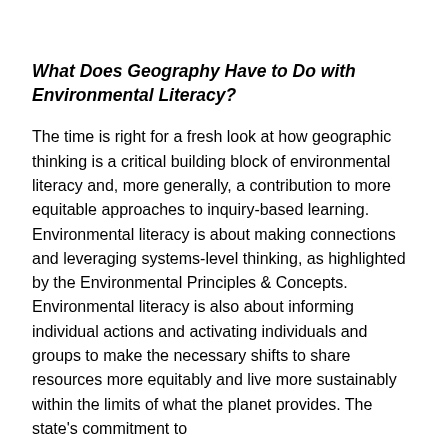What Does Geography Have to Do with Environmental Literacy?
The time is right for a fresh look at how geographic thinking is a critical building block of environmental literacy and, more generally, a contribution to more equitable approaches to inquiry-based learning. Environmental literacy is about making connections and leveraging systems-level thinking, as highlighted by the Environmental Principles & Concepts. Environmental literacy is also about informing individual actions and activating individuals and groups to make the necessary shifts to share resources more equitably and live more sustainably within the limits of what the planet provides. The state's commitment to